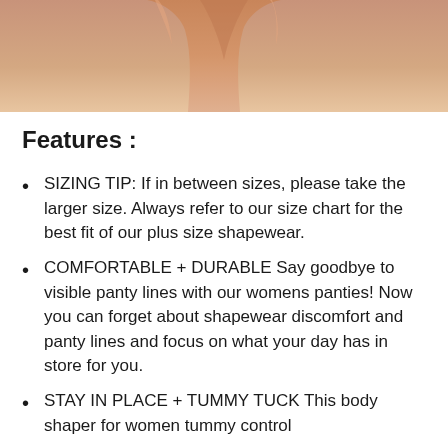[Figure (photo): Cropped photo showing legs/lower body of a person wearing shapewear, skin-tone colored undergarment against white background]
Features :
SIZING TIP: If in between sizes, please take the larger size. Always refer to our size chart for the best fit of our plus size shapewear.
COMFORTABLE + DURABLE Say goodbye to visible panty lines with our womens panties! Now you can forget about shapewear discomfort and panty lines and focus on what your day has in store for you.
STAY IN PLACE + TUMMY TUCK This body shaper for women tummy control